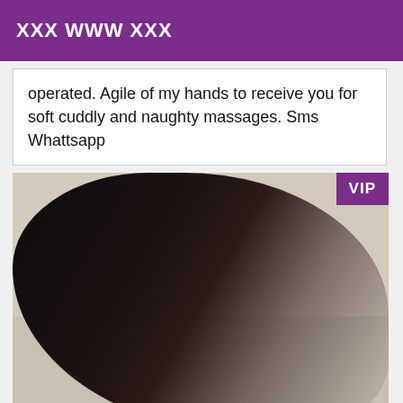XXX WWW XXX
operated. Agile of my hands to receive you for soft cuddly and naughty massages. Sms Whattsapp
[Figure (photo): Woman in black fishnet bodysuit posing on a bed. A purple VIP badge is in the top right corner of the photo.]